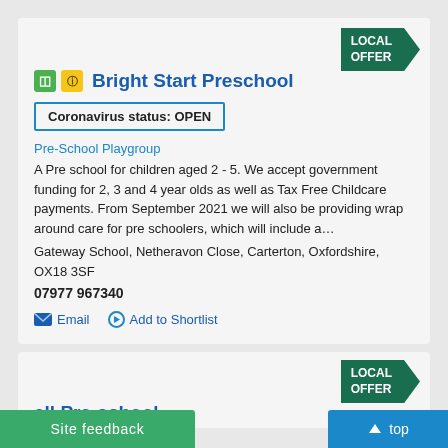[Figure (logo): LOCAL OFFER badge arrow green]
Bright Start Preschool
Coronavirus status: OPEN
Pre-School Playgroup
A Pre school for children aged 2 - 5.  We accept government funding for 2, 3 and 4 year olds as well as Tax Free Childcare payments.  From September 2021 we will also be providing wrap around care for pre schoolers, which will include a…
Gateway School, Netheravon Close, Carterton, Oxfordshire, OX18 3SF
07977 967340
Email   Add to Shortlist
[Figure (logo): LOCAL OFFER badge arrow green second card]
ell Pre-school
Site feedback   top